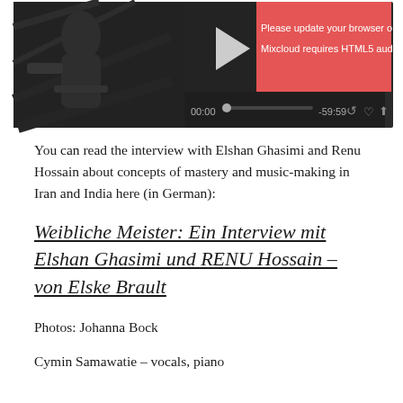[Figure (screenshot): Mixcloud audio player with a dark background. Left side shows a black-and-white photo of a person at instruments. Center shows a play button triangle. Right side shows a red/coral overlay with text 'Please update your browser or install' and 'Mixcloud requires HTML5 audio with M'. Bottom shows audio controls with time '00:00', a progress bar dot, '-59:59', and action icons (rewind, heart, share).]
You can read the interview with Elshan Ghasimi and Renu Hossain about concepts of mastery and music-making in Iran and India here (in German):
Weibliche Meister: Ein Interview mit Elshan Ghasimi und RENU Hossain – von Elske Brault
Photos: Johanna Bock
Cymin Samawatie – vocals, piano